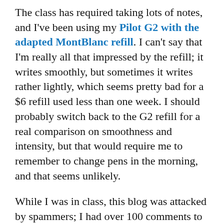The class has required taking lots of notes, and I've been using my Pilot G2 with the adapted MontBlanc refill. I can't say that I'm really all that impressed by the refill; it writes smoothly, but sometimes it writes rather lightly, which seems pretty bad for a $6 refill used less than one week. I should probably switch back to the G2 refill for a real comparison on smoothness and intensity, but that would require me to remember to change pens in the morning, and that seems unlikely.
While I was in class, this blog was attacked by spammers; I had over 100 comments to deal with when I got home, along with 52 emails telling me about them. I guess I should upgrade to the newest versions of everything, but at least none of the spams made it to the blog as far as I can tell.
Tomorrow is the final day of the microMBA; next